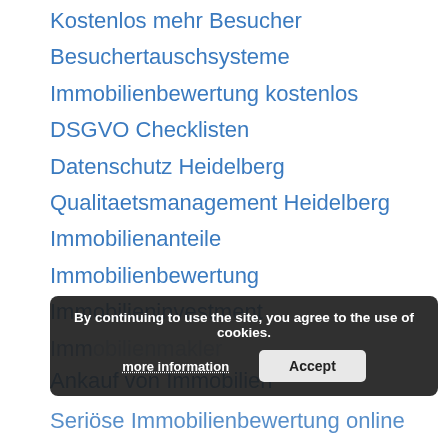Kostenlos mehr Besucher
Besuchertauschsysteme
Immobilienbewertung kostenlos
DSGVO Checklisten
Datenschutz Heidelberg
Qualitaetsmanagement Heidelberg
Immobilienanteile
Immobilienbewertung
Immobilieninvestment
Immobilienmakler
Ankauf von Immobilien
Seriöse Immobilienbewertung online
By continuing to use the site, you agree to the use of cookies. more information Accept